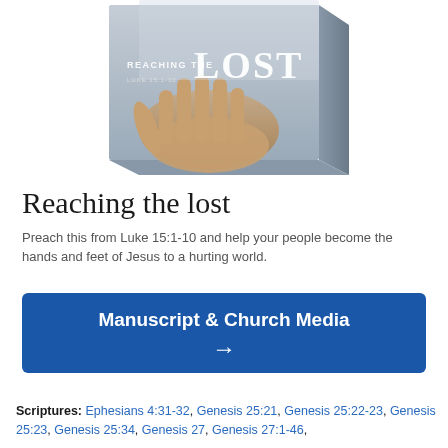[Figure (illustration): A 3D book/DVD box product image titled 'Reaching the Lost' with the subtitle 'Luke 15:1-10', showing a hand reaching out with the word LOST in large letters on the cover.]
Reaching the lost
Preach this from Luke 15:1-10 and help your people become the hands and feet of Jesus to a hurting world.
Manuscript & Church Media →
Scriptures: Ephesians 4:31-32, Genesis 25:21, Genesis 25:22-23, Genesis 25:23, Genesis 25:34, Genesis 27, Genesis 27:1-46,